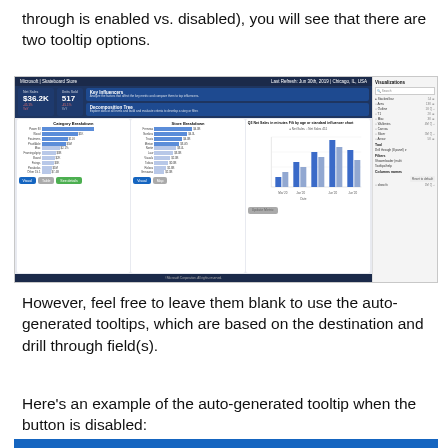through is enabled vs. disabled), you will see that there are two tooltip options.
[Figure (screenshot): Screenshot of a Microsoft Power BI dashboard showing a Skateboard Store report with Category Breakdown and Store Breakdown charts, Key Influencers panel, and a side visualization panel with filters.]
However, feel free to leave them blank to use the auto-generated tooltips, which are based on the destination and drill through field(s).
Here’s an example of the auto-generated tooltip when the button is disabled: